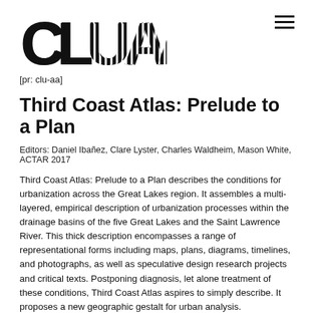[Figure (logo): CLUAA logo in bold black with striped geometric lettering]
[pr: clu-aa]
Third Coast Atlas: Prelude to a Plan
Editors: Daniel Ibañez, Clare Lyster, Charles Waldheim, Mason White, ACTAR 2017
Third Coast Atlas: Prelude to a Plan describes the conditions for urbanization across the Great Lakes region. It assembles a multi-layered, empirical description of urbanization processes within the drainage basins of the five Great Lakes and the Saint Lawrence River. This thick description encompasses a range of representational forms including maps, plans, diagrams, timelines, and photographs, as well as speculative design research projects and critical texts. Postponing diagnosis, let alone treatment of these conditions, Third Coast Atlas aspires to simply describe. It proposes a new geographic gestalt for urban analysis. Superimposed upon the North American continent, and with easily recognizable yet divergent political and geological borders, this megaregion traverses portions of eight U.S. states and two Canadian